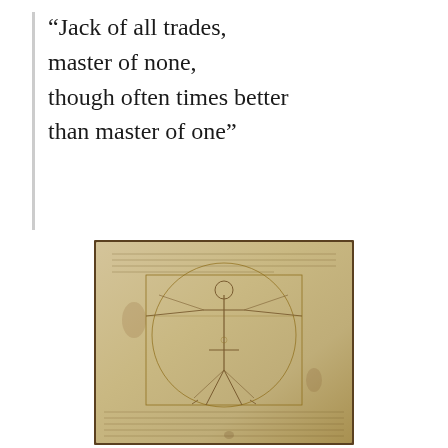“Jack of all trades, master of none, though often times better than master of one”
[Figure (illustration): Leonardo da Vinci's Vitruvian Man — a famous drawing of a male figure inscribed in both a circle and a square, with handwritten notes in Italian above and below the figure on aged parchment paper.]